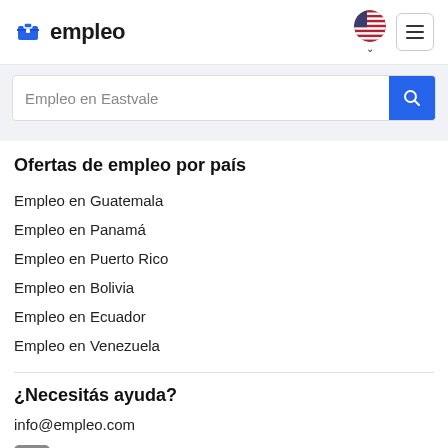empleo
Empleo en Eastvale
Ofertas de empleo por país
Empleo en Guatemala
Empleo en Panamá
Empleo en Puerto Rico
Empleo en Bolivia
Empleo en Ecuador
Empleo en Venezuela
¿Necesitás ayuda?
info@empleo.com
[Figure (logo): LinkedIn icon badge]